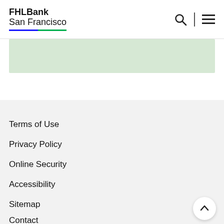FHLBank San Francisco
[Figure (other): Light green banner/content area below header]
Terms of Use
Privacy Policy
Online Security
Accessibility
Sitemap
Contact
Back to top button